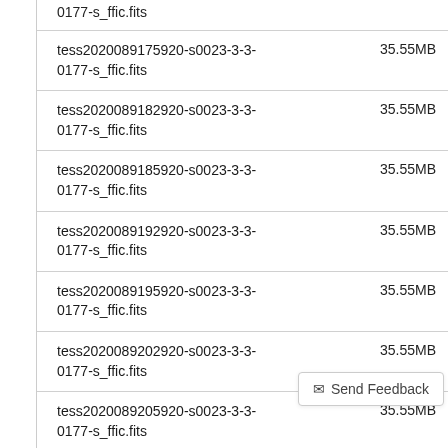0177-s_ffic.fits    35.55MB
tess2020089175920-s0023-3-3-0177-s_ffic.fits    35.55MB
tess2020089182920-s0023-3-3-0177-s_ffic.fits    35.55MB
tess2020089185920-s0023-3-3-0177-s_ffic.fits    35.55MB
tess2020089192920-s0023-3-3-0177-s_ffic.fits    35.55MB
tess2020089195920-s0023-3-3-0177-s_ffic.fits    35.55MB
tess2020089202920-s0023-3-3-0177-s_ffic.fits    35.55MB
tess2020089205920-s0023-3-3-0177-s_ffic.fits    35.55MB
tess2020089212920-s0...0177-s_ffic.fits